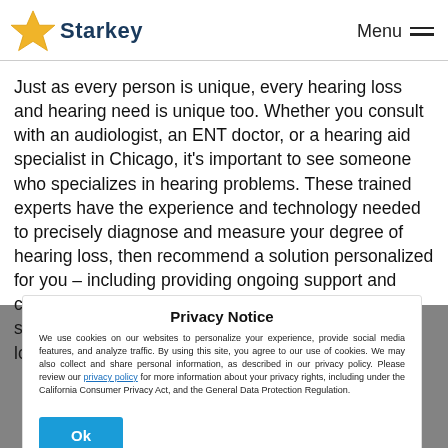Starkey | Menu
Just as every person is unique, every hearing loss and hearing need is unique too. Whether you consult with an audiologist, an ENT doctor, or a hearing aid specialist in Chicago, it's important to see someone who specializes in hearing problems. These trained experts have the experience and technology needed to precisely diagnose and measure your degree of hearing loss, then recommend a solution personalized for you – including providing ongoing support and care. We can easily get you connected with a specialist today to get you the answers you are looking for.
Privacy Notice
We use cookies on our websites to personalize your experience, provide social media features, and analyze traffic. By using this site, you agree to our use of cookies. We may also collect and share personal information, as described in our privacy policy. Please review our privacy policy for more information about your privacy rights, including under the California Consumer Privacy Act, and the General Data Protection Regulation.
Ok